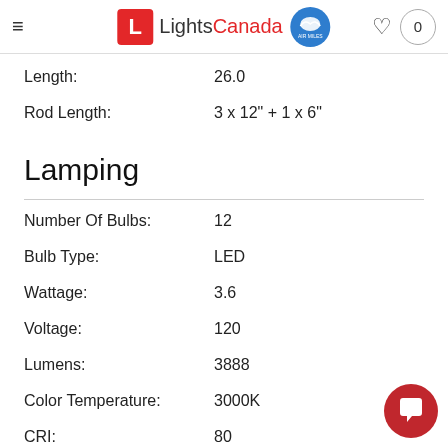LightsCanada
Length: 26.0
Rod Length: 3 x 12" + 1 x 6"
Lamping
Number Of Bulbs: 12
Bulb Type: LED
Wattage: 3.6
Voltage: 120
Lumens: 3888
Color Temperature: 3000K
CRI: 80